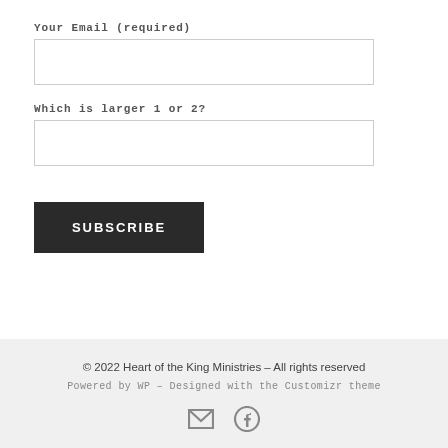Your Email (required)
Which is larger 1 or 2?
SUBSCRIBE
© 2022 Heart of the King Ministries – All rights reserved
Powered by WP – Designed with the Customizr theme